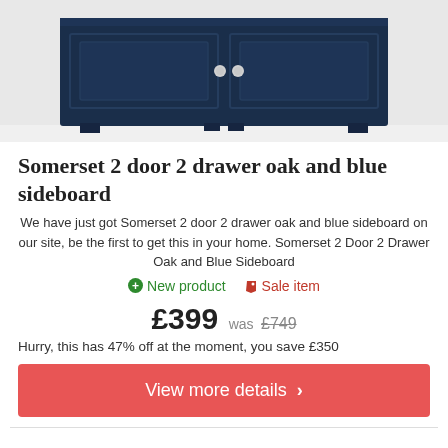[Figure (photo): Dark navy blue sideboard with two doors and two drawers, wooden cabinet on white background]
Somerset 2 door 2 drawer oak and blue sideboard
We have just got Somerset 2 door 2 drawer oak and blue sideboard on our site, be the first to get this in your home. Somerset 2 Door 2 Drawer Oak and Blue Sideboard
New product  Sale item
£399 was £749
Hurry, this has 47% off at the moment, you save £350
View more details >